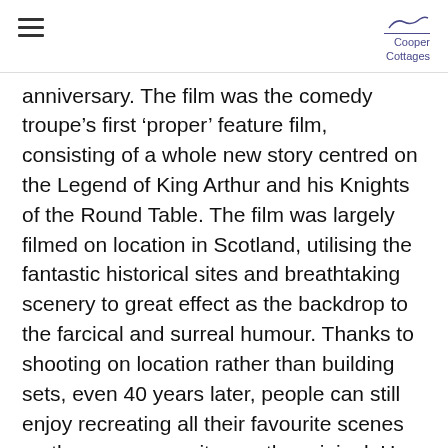Cooper Cottages
anniversary. The film was the comedy troupe’s first ‘proper’ feature film, consisting of a whole new story centred on the Legend of King Arthur and his Knights of the Round Table. The film was largely filmed on location in Scotland, utilising the fantastic historical sites and breathtaking scenery to great effect as the backdrop to the farcical and surreal humour. Thanks to shooting on location rather than building sets, even 40 years later, people can still enjoy recreating all their favourite scenes on the very same sites as the original. Here are a list of some of the most famous locations from the film.
“One day all this will be yours.” “What the